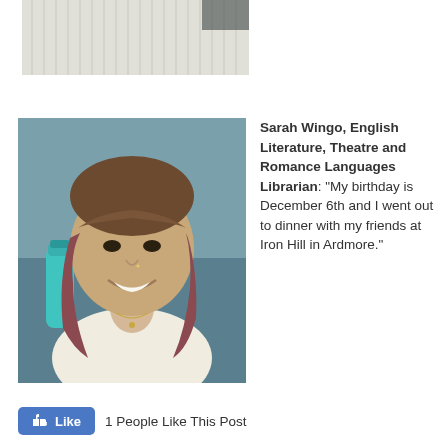[Figure (photo): Partial photo of a striped fabric or notebook at the top of the page]
[Figure (photo): Portrait photo of Sarah Wingo, a woman with brown and reddish hair and bangs, smiling, wearing a white sleeveless top with a small necklace. A teal water bottle is visible in the background.]
Sarah Wingo, English Literature, Theatre and Romance Languages Librarian: “My birthday is December 6th and I went out to dinner with my friends at Iron Hill in Ardmore.”
1 People Like This Post